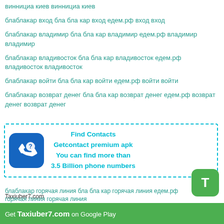виннициа киев виннициа киев
блаблакар вход бла бла кар вход едем.рф вход вход
блаблакар владимир бла бла кар владимир едем.рф владимир владимир
блаблакар владивосток бла бла кар владивосток едем.рф владивосток владивосток
блаблакар войти бла бла кар войти едем.рф войти войти
блаблакар возврат денег бла бла кар возврат денег едем.рф возврат денег возврат денег
[Figure (infographic): Find Contacts advertisement box with dashed cyan border, phone icon with question mark on blue background, text: Find Contacts / Getcontact premium apk / You can find more than / 3.5 Billion phone numbers]
Taxiuber7.com
T
блаблакар горячая линия бла бла кар горячая линия едем.рф горячая линия горячая линия
Get Taxiuber7.com on Google Play